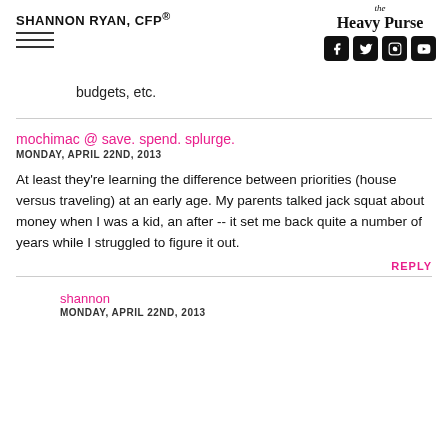SHANNON RYAN, CFP®
[Figure (logo): The Heavy Purse logo with social media icons (Facebook, Twitter, Instagram, YouTube)]
budgets, etc.
mochimac @ save. spend. splurge.
MONDAY, APRIL 22ND, 2013
At least they're learning the difference between priorities (house versus traveling) at an early age. My parents talked jack squat about money when I was a kid, an after -- it set me back quite a number of years while I struggled to figure it out.
REPLY
shannon
MONDAY, APRIL 22ND, 2013